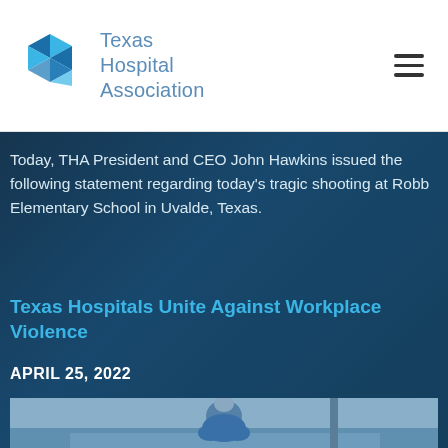[Figure (logo): Texas Hospital Association logo with blue geometric shapes and text]
Today, THA President and CEO John Hawkins issued the following statement regarding today’s tragic shooting at Robb Elementary School in Uvalde, Texas.
Texas Hospitals Unite Against Workplace Violence
APRIL 25, 2022
[Figure (photo): Healthcare worker in blue scrubs and surgical cap sitting with head down in a hospital corridor]